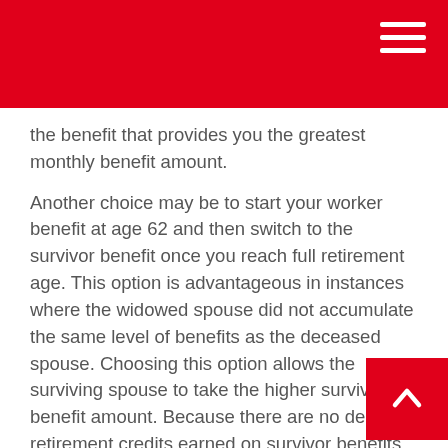the benefit that provides you the greatest monthly benefit amount.
Another choice may be to start your worker benefit at age 62 and then switch to the survivor benefit once you reach full retirement age. This option is advantageous in instances where the widowed spouse did not accumulate the same level of benefits as the deceased spouse. Choosing this option allows the surviving spouse to take the higher survivor benefit amount. Because there are no delayed retirement credits earned on survivor benefits, there is no advantage to waiting past full retirement age to apply for survivor benefits.⁴
A final choice is to consider starting the survivor benefit at age 60 and then switching to your own worker benefit at age 70. This strategy allows you to begin receiving income